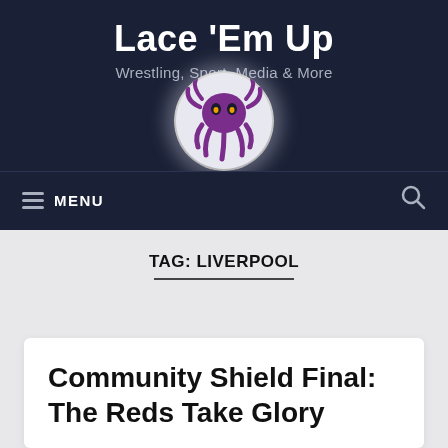Lace 'Em Up
Wrestling, Sport, Media & More
[Figure (logo): Circular logo with a purple octopus/squid mascot on a glowing white circle background]
MENU
TAG: LIVERPOOL
Community Shield Final: The Reds Take Glory